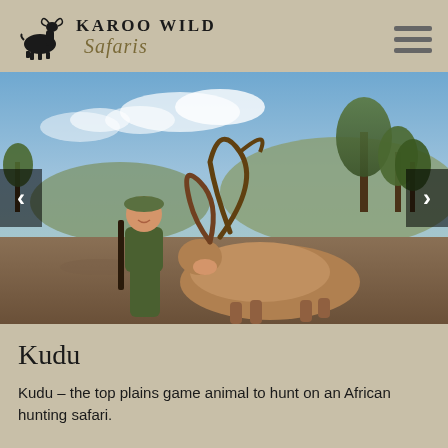[Figure (logo): Karoo Wild Safaris logo with stylized kudu antelope silhouette above the brand name]
[Figure (photo): A hunter in green clothing kneeling beside a harvested kudu with large spiral horns, holding a rifle, outdoors in African bush landscape]
Kudu
Kudu – the top plains game animal to hunt on an African hunting safari.